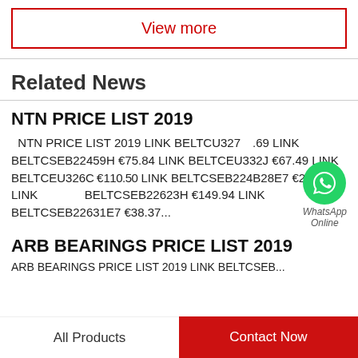View more
Related News
NTN PRICE LIST 2019
NTN PRICE LIST 2019 LINK BELTCU327... €...69 LINK BELTCSEB22459H €75.84 LINK BELTCEU332J €67.49 LINK BELTCEU326C €110.50 LINK BELTCSEB224B28E7 €26.86 LINK BELTCSEB22623H €149.94 LINK BELTCSEB22631E7 €38.37...
ARB BEARINGS PRICE LIST 2019
All Products
Contact Now